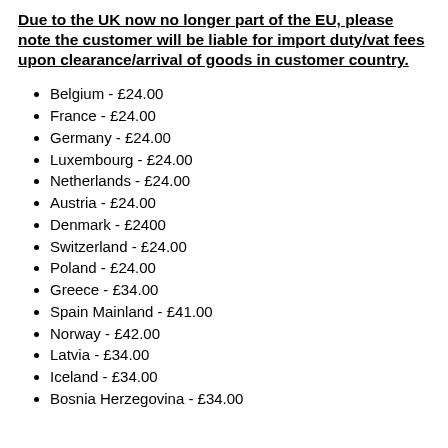Due to the UK now no longer part of the EU, please note the customer will be liable for import duty/vat fees upon clearance/arrival of goods in customer country.
Belgium - £24.00
France - £24.00
Germany - £24.00
Luxembourg - £24.00
Netherlands - £24.00
Austria - £24.00
Denmark - £2400
Switzerland - £24.00
Poland - £24.00
Greece - £34.00
Spain Mainland - £41.00
Norway - £42.00
Latvia - £34.00
Iceland - £34.00
Bosnia Herzegovina - £34.00